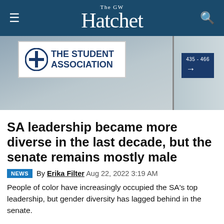The GW Hatchet
[Figure (photo): Photo of The Student Association office sign on a wall with a blue circle logo, and a dark blue door sign showing room numbers 435-466 with an arrow pointing right.]
SA leadership became more diverse in the last decade, but the senate remains mostly male
NEWS  By Erika Filter  Aug 22, 2022 3:19 AM
People of color have increasingly occupied the SA's top leadership, but gender diversity has lagged behind in the senate.